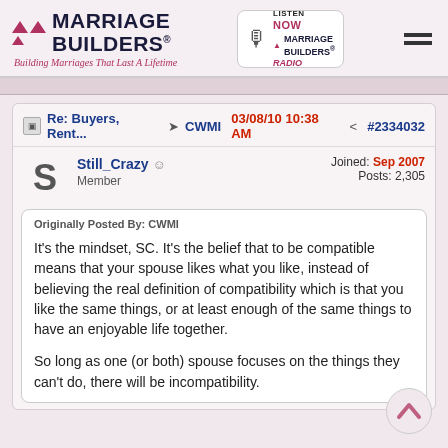[Figure (logo): Marriage Builders logo with triangles, tagline 'Building Marriages That Last A Lifetime', Listen Now Marriage Builders Radio box, hamburger menu icon]
Re: Buyers, Rent... → CWMI  03/08/10 10:38 AM  #2334032
Still_Crazy  Member  Joined: Sep 2007  Posts: 2,305
Originally Posted By: CWMI

It's the mindset, SC. It's the belief that to be compatible means that your spouse likes what you like, instead of believing the real definition of compatibility which is that you like the same things, or at least enough of the same things to have an enjoyable life together.

So long as one (or both) spouse focuses on the things they can't do, there will be incompatibility.